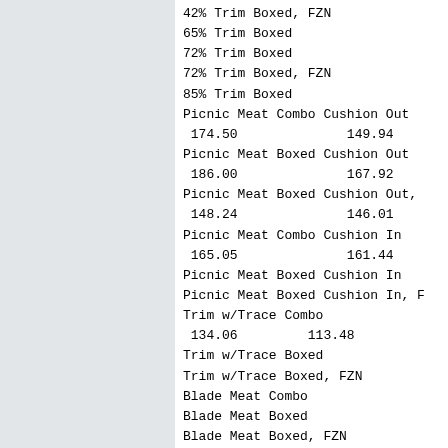42% Trim Boxed, FZN
65% Trim Boxed
72% Trim Boxed
72% Trim Boxed, FZN
85% Trim Boxed
Picnic Meat Combo Cushion Out
 174.50              149.94
Picnic Meat Boxed Cushion Out
 186.00              167.92
Picnic Meat Boxed Cushion Out,
 148.24              146.01
Picnic Meat Combo Cushion In
 165.05              161.44
Picnic Meat Boxed Cushion In
Picnic Meat Boxed Cushion In, F
Trim w/Trace Combo
 134.06         113.48
Trim w/Trace Boxed
Trim w/Trace Boxed, FZN
Blade Meat Combo
Blade Meat Boxed
Blade Meat Boxed, FZN
72% Ham Trim Combo
72% Ham Trim Boxed
90% Ham Trim Combo
Variety
Untrimmed Neckbones Gas
Untrimmed Neckbones Gas, FZN
Trimmed Neckbones Gas
Trimmed Neckbones Gas, FZN